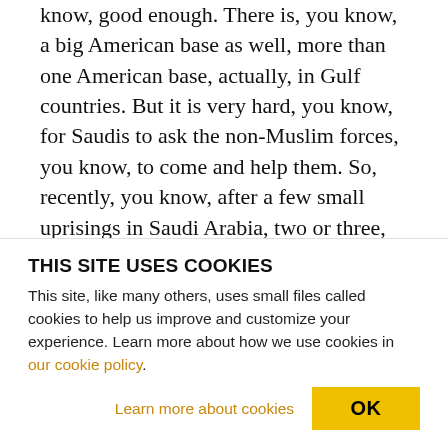know, good enough. There is, you know, a big American base as well, more than one American base, actually, in Gulf countries. But it is very hard, you know, for Saudis to ask the non-Muslim forces, you know, to come and help them. So, recently, you know, after a few small uprisings in Saudi Arabia, two or three, you know, security personnel, security chief, the interior minister, I think, of Saudi Arabia visited Pakistan and tried to, you know, get some commitment from Pakistani army, you know, to have a one- or two-division force from them. So [incomp.] was there.
THIS SITE USES COOKIES
This site, like many others, uses small files called cookies to help us improve and customize your experience. Learn more about how we use cookies in our cookie policy.
Learn more about cookies    OK